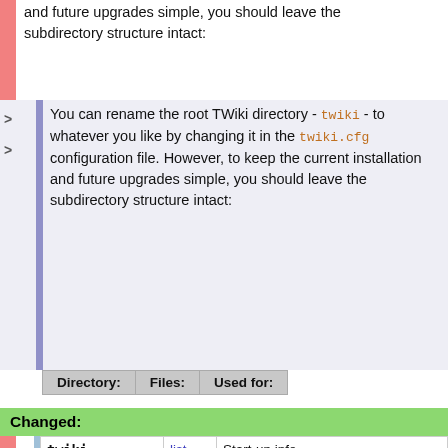and future upgrades simple, you should leave the subdirectory structure intact:
You can rename the root TWiki directory - twiki - to whatever you like by changing it in the twiki.cfg configuration file. However, to keep the current installation and future upgrades simple, you should leave the subdirectory structure intact:
| Directory: | Files: | Used for: |
| --- | --- | --- |
Changed:
| Directory: | Files: | Used for: |
| --- | --- | --- |
| twiki | list | Start-up info |
| twiki/bin | list | Perl scripts |
| twiki/lib | list | Configuration file, main library, Perl system modules, Plugins |
| twiki/pub | list | Public support files (ex: FileAttachments, images) and RCS histories) |
| twiki/data | list | Topic text (page content) and RCS histories; |